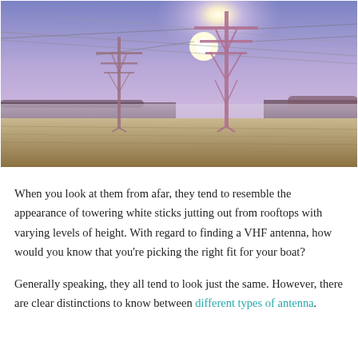[Figure (photo): Photograph of large electrical transmission towers (pylons) with power lines against a purple-blue sky with a bright sun and misty fields below.]
When you look at them from afar, they tend to resemble the appearance of towering white sticks jutting out from rooftops with varying levels of height. With regard to finding a VHF antenna, how would you know that you’re picking the right fit for your boat?
Generally speaking, they all tend to look just the same. However, there are clear distinctions to know between different types of antenna.